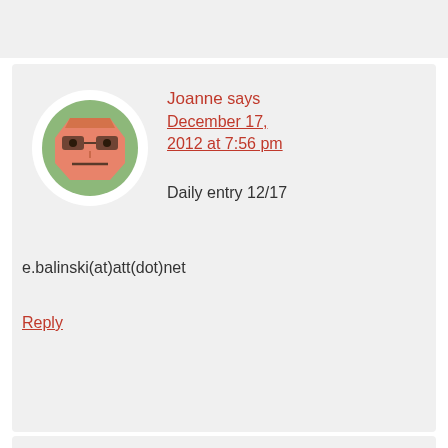[Figure (illustration): Avatar icon: cartoon face with glasses on green/white circular background]
Joanne says December 17, 2012 at 7:56 pm
Daily entry 12/17
e.balinski(at)att(dot)net
Reply
[Figure (illustration): Avatar icon: cartoon face with glasses on green/white circular background (partially visible)]
Jane says December 17,